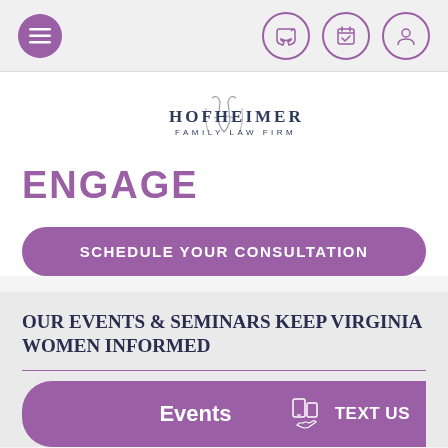Navigation bar with menu, phone, calendar, and account icons
[Figure (logo): Hofheimer Family Law Firm logo with decorative H script and HOFHEIMER FAMILY LAW FIRM text]
ENGAGE
SCHEDULE YOUR CONSULTATION
OUR EVENTS & SEMINARS KEEP VIRGINIA WOMEN INFORMED
Events
TEXT US